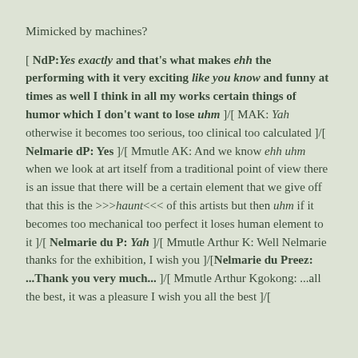Mimicked by machines?
[ NdP: Yes exactly and that's what makes ehh the performing with it very exciting like you know and funny at times as well I think in all my works certain things of humor which I don't want to lose uhm ]/[ MAK: Yah otherwise it becomes too serious, too clinical too calculated ]/[ Nelmarie dP: Yes ]/[ Mmutle AK: And we know ehh uhm when we look at art itself from a traditional point of view there is an issue that there will be a certain element that we give off that this is the >>>haunt<<< of this artists but then uhm if it becomes too mechanical too perfect it loses human element to it ]/[ Nelmarie du P: Yah ]/[ Mmutle Arthur K: Well Nelmarie thanks for the exhibition, I wish you ]/[Nelmarie du Preez: ...Thank you very much... ]/[ Mmutle Arthur Kgokong: ...all the best, it was a pleasure I wish you all the best ]/[